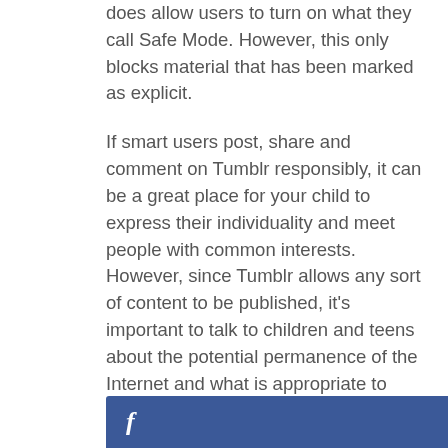does allow users to turn on what they call Safe Mode. However, this only blocks material that has been marked as explicit.
If smart users post, share and comment on Tumblr responsibly, it can be a great place for your child to express their individuality and meet people with common interests. However, since Tumblr allows any sort of content to be published, it’s important to talk to children and teens about the potential permanence of the Internet and what is appropriate to share on social media.
By Elizabeth Slatsky
[Figure (other): Facebook share button bar in dark blue with white italic f icon]